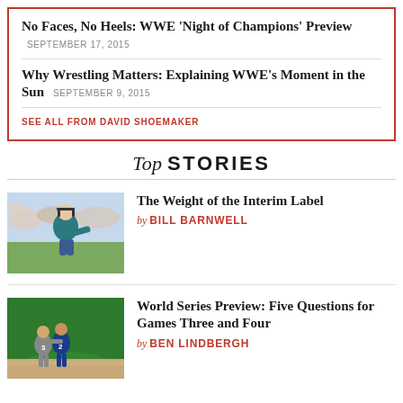No Faces, No Heels: WWE 'Night of Champions' Preview  SEPTEMBER 17, 2015
Why Wrestling Matters: Explaining WWE's Moment in the Sun  SEPTEMBER 9, 2015
SEE ALL FROM DAVID SHOEMAKER
Top STORIES
The Weight of the Interim Label
by BILL BARNWELL
World Series Preview: Five Questions for Games Three and Four
by BEN LINDBERGH